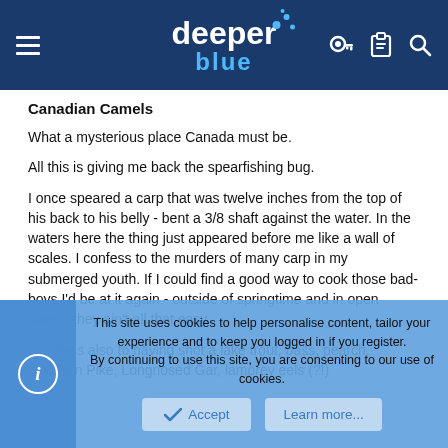deeper blue [logo with navigation icons]
Canadian Camels
What a mysterious place Canada must be.
All this is giving me back the spearfishing bug.
I once speared a carp that was twelve inches from the top of his back to his belly - bent a 3/8 shaft against the water. In the waters here the thing just appeared before me like a wall of scales. I confess to the murders of many carp in my submerged youth. If I could find a good way to cook those bad-boys I'd be at it again - outside of springtime and in open waters they ain't all that easy.
I confess also to having shot a lake trout, bass, pearch, Northern Pike, Longnosed Gar, lamprey eels (?!)
This site uses cookies to help personalise content, tailor your experience and to keep you logged in if you register.
By continuing to use this site, you are consenting to our use of cookies.